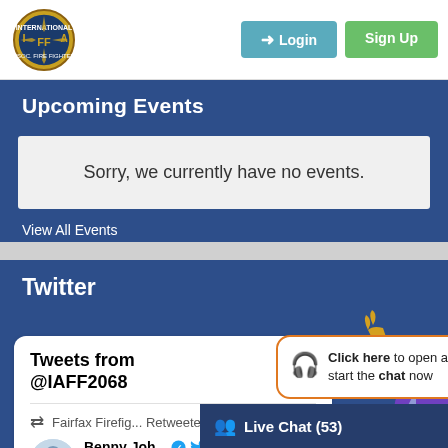[Figure (logo): IAFF (International Association of Fire Fighters) circular logo with gold/yellow eagle and text]
Login
Sign Up
Upcoming Events
Sorry, we currently have no events.
View All Events
Twitter
Tweets from @IAFF2068
Fairfax Firefig... Retweeted
Benny Joh... @ben... · Ju
[Figure (illustration): Decorative character illustration with golden arm raised, purple/blue sleeve, on right side]
Click here to open and start the chat now
Live Chat (53)